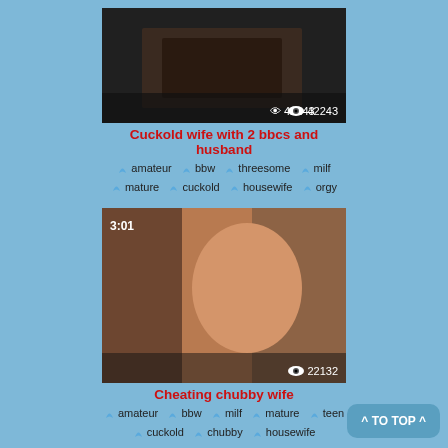[Figure (screenshot): Video thumbnail showing dark scene with view count 42243]
Cuckold wife with 2 bbcs and husband
amateur bbw threesome milf mature cuckold housewife orgy
[Figure (screenshot): Video thumbnail 3:01 showing woman, view count 22132]
Cheating chubby wife
amateur bbw milf mature teen cuckold chubby housewife
[Figure (screenshot): Partial video thumbnail 7:10]
^ TO TOP ^